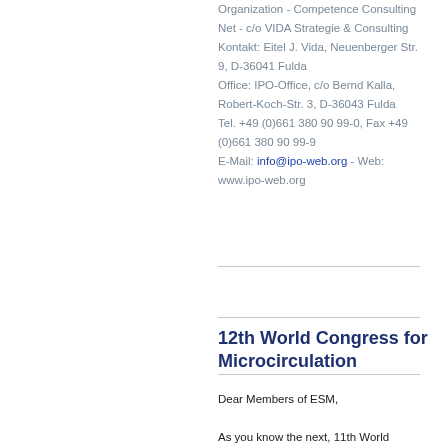Organization - Competence Consulting Net - c/o VIDA Strategie & Consulting Kontakt: Eitel J. Vida, Neuenberger Str. 9, D-36041 Fulda Office: IPO-Office, c/o Bernd Kalla, Robert-Koch-Str. 3, D-36043 Fulda Tel. +49 (0)661 380 90 99-0, Fax +49 (0)661 380 90 99-9 E-Mail: info@ipo-web.org - Web: www.ipo-web.org
12th World Congress for Microcirculation
Dear Members of ESM,
As you know the next, 11th World Congress for Microcirculation will be held in 2018 in Vancouver, Canada. However, the location/organizer of the following, 12th WCM has not yet been